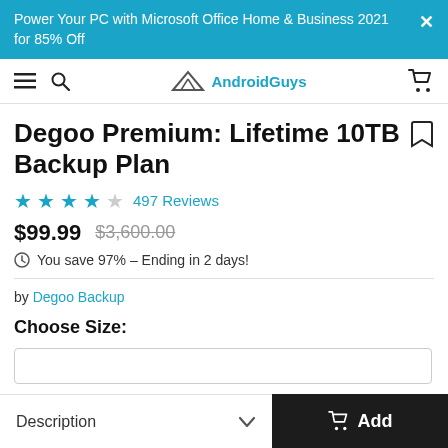Power Your PC with Microsoft Office Home & Business 2021 for 85% Off
[Figure (logo): AndroidGuys logo with navigation bar including hamburger menu, search, and cart icons]
Degoo Premium: Lifetime 10TB Backup Plan
★★★★☆ 497 Reviews
$99.99  $3,600.00
You save 97% – Ending in 2 days!
by Degoo Backup
Choose Size:
Description